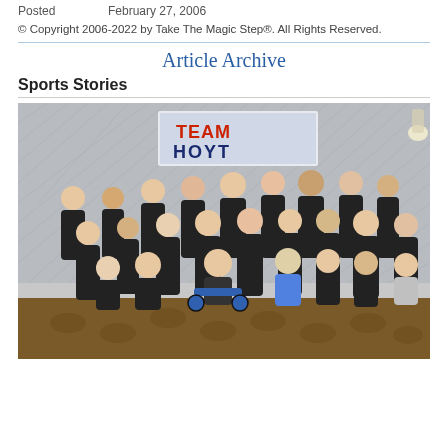Posted	February 27, 2006
© Copyright 2006-2022 by Take The Magic Step®. All Rights Reserved.
Article Archive
Sports Stories
[Figure (photo): Group photo of approximately 25-30 people posing together in front of a 'Team Hoyt' banner in what appears to be a banquet hall. Most people are wearing matching black jackets. Several individuals are in wheelchairs in the front row. The background shows a diamond-patterned wall and the Team Hoyt sign with red and blue lettering.]